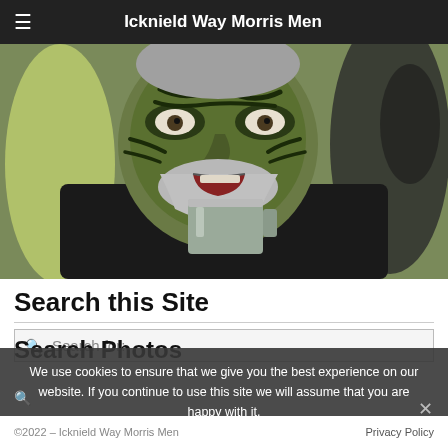Icknield Way Morris Men
[Figure (photo): Close-up photo of a person with green and black face paint, grey beard, wearing a black jacket with red scarf/tie, drinking from a metal tankard. Background shows other people out of focus.]
Search this Site
Search for:
Search Photos
We use cookies to ensure that we give you the best experience on our website. If you continue to use this site we will assume that you are happy with it.
OK  Read more
©2022 – Icknield Way Morris Men    Privacy Policy